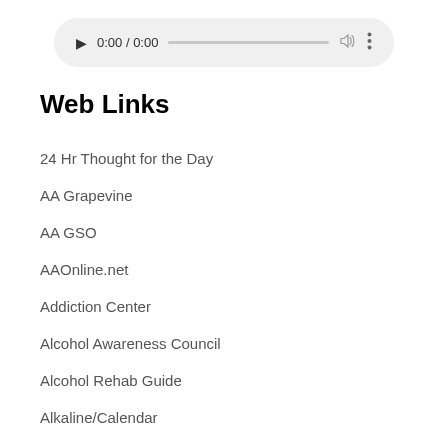[Figure (other): Audio player UI element showing play button, time display (0:00 / 0:00), progress bar, volume icon, and more options icon on a light gray rounded rectangle background.]
Web Links
24 Hr Thought for the Day
AA Grapevine
AA GSO
AAOnline.net
Addiction Center
Alcohol Awareness Council
Alcohol Rehab Guide
Alkaline/Calendar
Big Book Online 4th Edition
Clean and Sober Not Dead